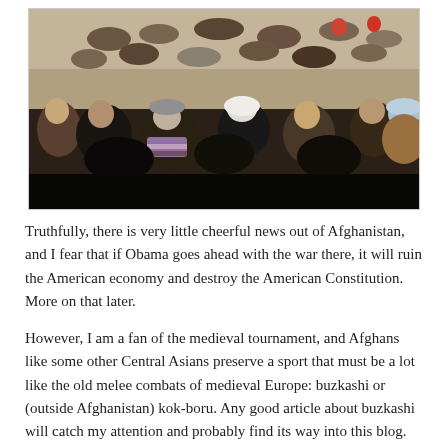[Figure (photo): Overhead and ground-level view of a buzkashi or kok-boru game in Afghanistan, showing many riders on horses in the background and a crowd of spectators in traditional clothing in the foreground, set on a dusty field.]
Truthfully, there is very little cheerful news out of Afghanistan, and I fear that if Obama goes ahead with the war there, it will ruin the American economy and destroy the American Constitution. More on that later.
However, I am a fan of the medieval tournament, and Afghans like some other Central Asians preserve a sport that must be a lot like the old melee combats of medieval Europe: buzkashi or (outside Afghanistan) kok-boru. Any good article about buzkashi will catch my attention and probably find its way into this blog.